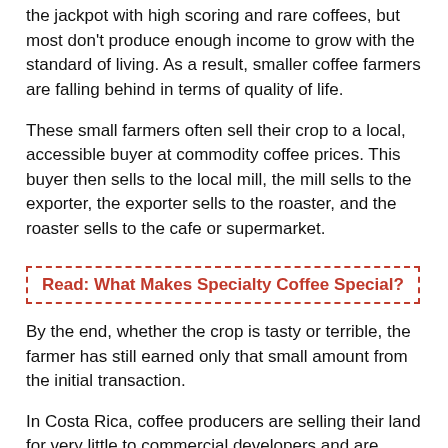the jackpot with high scoring and rare coffees, but most don't produce enough income to grow with the standard of living. As a result, smaller coffee farmers are falling behind in terms of quality of life.
These small farmers often sell their crop to a local, accessible buyer at commodity coffee prices. This buyer then sells to the local mill, the mill sells to the exporter, the exporter sells to the roaster, and the roaster sells to the cafe or supermarket.
Read: What Makes Specialty Coffee Special?
By the end, whether the crop is tasty or terrible, the farmer has still earned only that small amount from the initial transaction.
In Costa Rica, coffee producers are selling their land for very little to commercial developers and are seeking jobs cities. In Bolivia, farmers are ditching coffee to grow the more lucrative coca, an essential ingredient in cocaine.